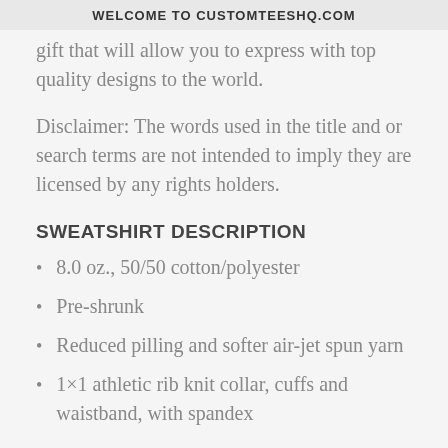WELCOME TO CUSTOMTEESHQ.COM
gift that will allow you to express with top quality designs to the world.
Disclaimer: The words used in the title and or search terms are not intended to imply they are licensed by any rights holders.
SWEATSHIRT DESCRIPTION
8.0 oz., 50/50 cotton/polyester
Pre-shrunk
Reduced pilling and softer air-jet spun yarn
1×1 athletic rib knit collar, cuffs and waistband, with spandex